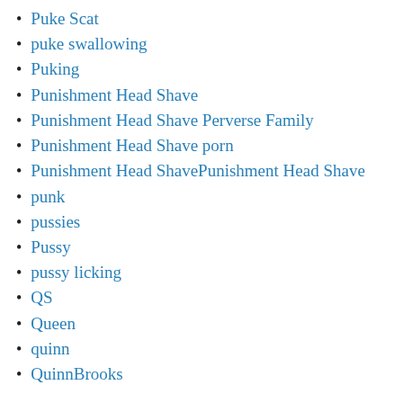Puke Scat
puke swallowing
Puking
Punishment Head Shave
Punishment Head Shave Perverse Family
Punishment Head Shave porn
Punishment Head ShavePunishment Head Shave
punk
pussies
Pussy
pussy licking
QS
Queen
quinn
QuinnBrooks